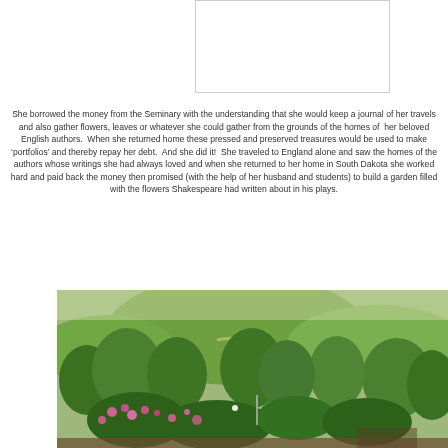[Figure (photo): White/blank rectangular image placeholder at top center of page]
She borrowed the money from the Seminary with the understanding that she would keep a journal of her travels and also gather flowers, leaves or whatever she could gather from the grounds of the homes of her beloved English authors. When she returned home these pressed and preserved treasures would be used to make 'portfolios' and thereby repay her debt. And she did it! She traveled to England alone and saw the homes of the authors whose writings she had always loved and when she returned to her home in South Dakota she worked hard and paid back the money then promised (with the help of her husband and students) to build a garden filled with the flowers Shakespeare had written about in his plays.
[Figure (photo): Photograph of a lush garden with green trees and shrubs, pink flowers in the foreground, and rolling green hills in the background]